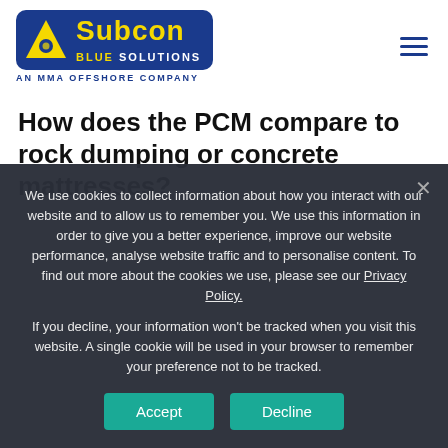[Figure (logo): Subcon Blue Solutions - An MMA Offshore Company logo with yellow triangle and blue background]
How does the PCM compare to rock dumping or concrete mattresses?
We use cookies to collect information about how you interact with our website and to allow us to remember you. We use this information in order to give you a better experience, improve our website performance, analyse website traffic and to personalise content. To find out more about the cookies we use, please see our Privacy Policy.
If you decline, your information won't be tracked when you visit this website. A single cookie will be used in your browser to remember your preference not to be tracked.